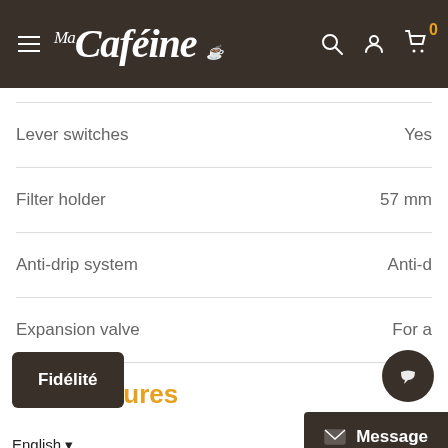Ma Caféine — navigation header
| Feature | Value |
| --- | --- |
| Lever switches | Yes |
| Filter holder | 57 mm |
| Anti-drip system | Anti-drip |
| Expansion valve | For a... |
A few figures
Fidélité
Message
English